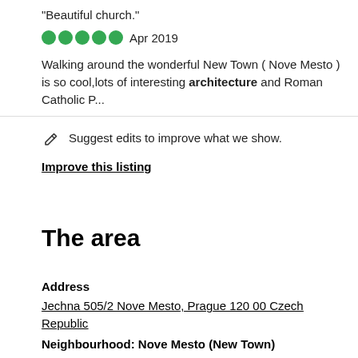"Beautiful church."
Apr 2019
Walking around the wonderful New Town ( Nove Mesto ) is so cool,lots of interesting architecture and Roman Catholic P...
Suggest edits to improve what we show.
Improve this listing
The area
Address
Jechna 505/2 Nove Mesto, Prague 120 00 Czech Republic
Neighbourhood: Nove Mesto (New Town)